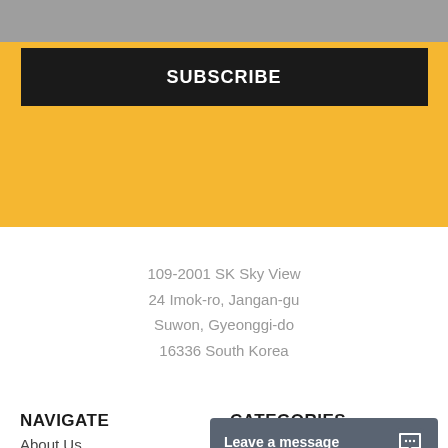[Figure (screenshot): Gray top bar strip]
SUBSCRIBE
109-2001 SK Sky View
24 Imok-ro, Jangan-gu
Suwon, Gyeonggi-do
16336 South Korea
NAVIGATE
CATEGORIES
About Us
Leave a message